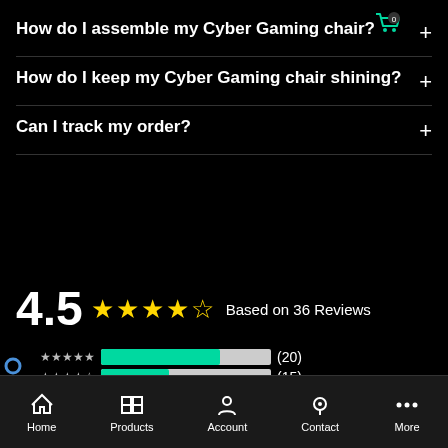How do I assemble my Cyber Gaming chair?
How do I keep my Cyber Gaming chair shining?
Can I track my order?
4.5 ★★★★½ Based on 36 Reviews
[Figure (bar-chart): Rating breakdown]
Home  Products  Account  Contact  More